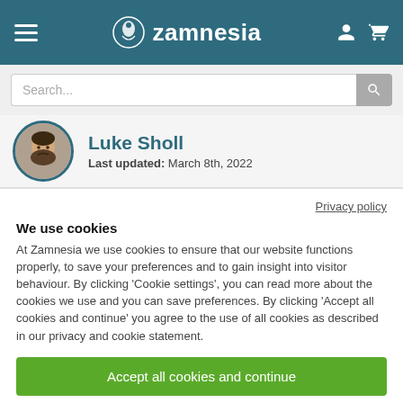Zamnesia
Search...
Luke Sholl
Last updated: March 8th, 2022
Privacy policy
We use cookies
At Zamnesia we use cookies to ensure that our website functions properly, to save your preferences and to gain insight into visitor behaviour. By clicking 'Cookie settings', you can read more about the cookies we use and you can save preferences. By clicking 'Accept all cookies and continue' you agree to the use of all cookies as described in our privacy and cookie statement.
Accept all cookies and continue
Cookie settings